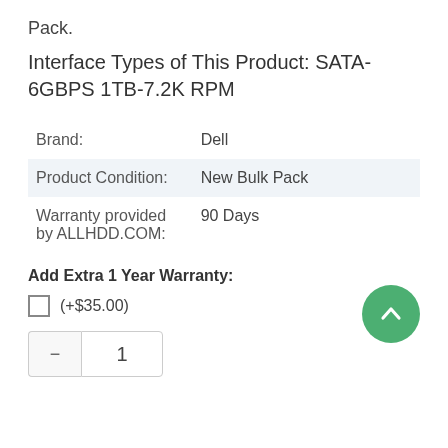Pack.
Interface Types of This Product: SATA-6GBPS 1TB-7.2K RPM
| Brand: | Dell |
| Product Condition: | New Bulk Pack |
| Warranty provided by ALLHDD.COM: | 90 Days |
Add Extra 1 Year Warranty:
(+$35.00)
- 1